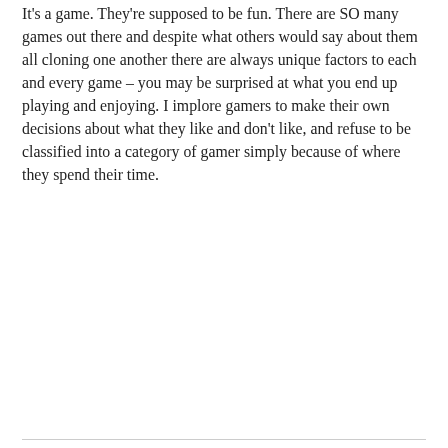It's a game. They're supposed to be fun. There are SO many games out there and despite what others would say about them all cloning one another there are always unique factors to each and every game – you may be surprised at what you end up playing and enjoying. I implore gamers to make their own decisions about what they like and don't like, and refuse to be classified into a category of gamer simply because of where they spend their time.
October 9, 2010
By stargrace
In Gaming
4 Comments
Aion AoC Champions Online DDO eq EQ2 EVE Fallen Earth Free Realms Guild Wars LineageII LoTRO RoM VG W101 WAR WoW